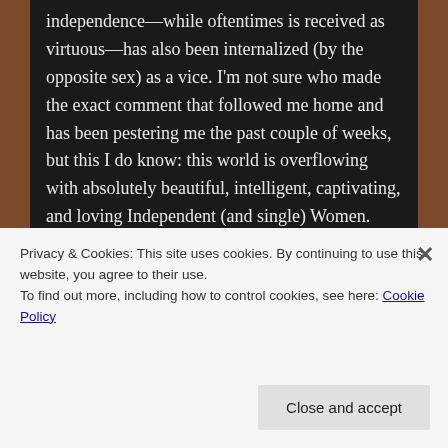independence—while oftentimes is received as virtuous—has also been internalized (by the opposite sex) as a vice. I'm not sure who made the exact comment that followed me home and has been pestering me the past couple of weeks, but this I do know: this world is overflowing with absolutely beautiful, intelligent, captivating, and loving Independent (and single) Women.
A few years back a similar conversation surfaced amongst a different circle of friends and I remember
Privacy & Cookies: This site uses cookies. By continuing to use this website, you agree to their use.
To find out more, including how to control cookies, see here: Cookie Policy